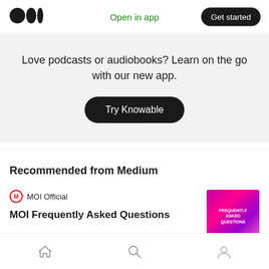Open in app | Get started
Love podcasts or audiobooks? Learn on the go with our new app.
Try Knowable
Recommended from Medium
MOI Official
MOI Frequently Asked Questions
Home | Search | Profile